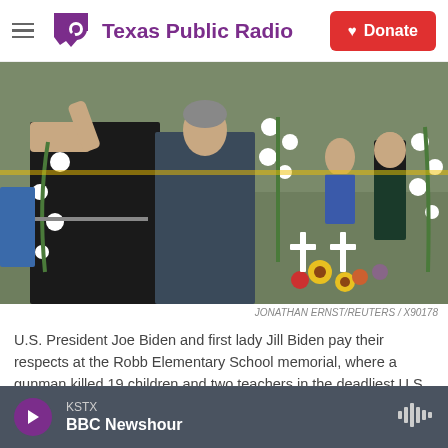Texas Public Radio | Donate
[Figure (photo): U.S. President Joe Biden and first lady Jill Biden paying respects at the Robb Elementary School memorial with flowers, a young boy, and a young woman visible in the background. White roses and sunflowers decorate the memorial crosses.]
JONATHAN ERNST/REUTERS / X90178
U.S. President Joe Biden and first lady Jill Biden pay their respects at the Robb Elementary School memorial, where a gunman killed 19 children and two teachers in the deadliest U.S. school shooting in nearly a decade, in Uvalde, Texas, U.S. May 29, 2022.
KSTX BBC Newshour